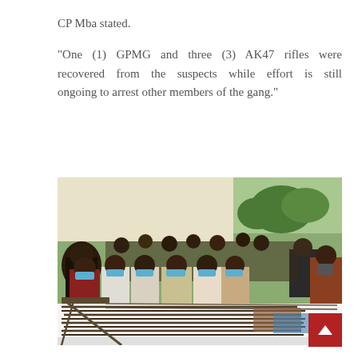CP Mba stated.
"One (1) GPMG and three (3) AK47 rifles were recovered from the suspects while effort is still ongoing to arrest other members of the gang."
[Figure (photo): A group of masked suspects seated behind a table covered with a white cloth displaying numerous rifles and weapons, with police officers and onlookers in the background, outdoors under a tent.]